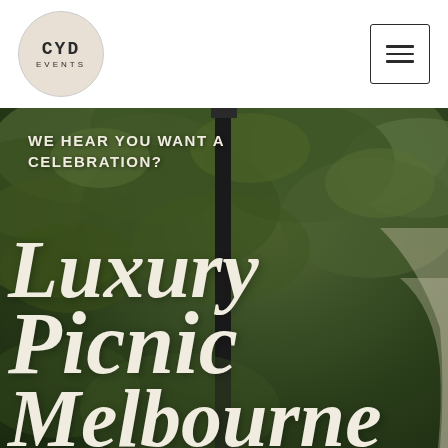[Figure (logo): CYD Events circular logo with textured background]
[Figure (other): Hamburger menu icon button with three horizontal lines inside a square border]
[Figure (photo): Outdoor background photo showing green tree foliage with a dark vertical pole, used as hero banner background for CYD Events luxury picnic Melbourne page]
WE HEAR YOU WANT A CELEBRATION?
Luxury Picnic Melbourne